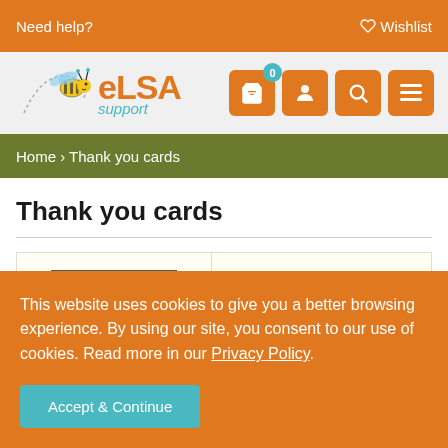Need help?   ♡ Wishlist
[Figure (logo): ELSA Support logo with cartoon bee illustration]
Home › Thank you cards
Thank you cards
[Figure (photo): Product card thumbnail showing 'Shop ELSA' label on left and 'THANK YOU' text in yellow on right]
This website uses cookies to give you a better browsing experience. By using our site, you consent to our use of cookies. Read more in our Privacy Policy.
Accept & Continue